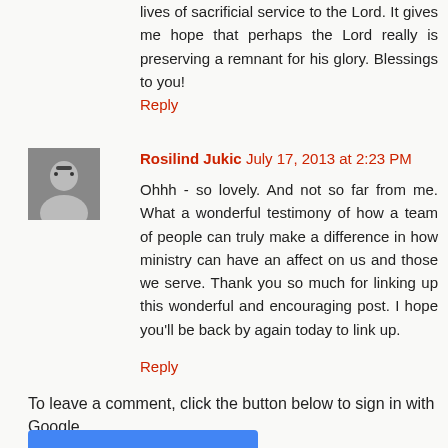lives of sacrificial service to the Lord. It gives me hope that perhaps the Lord really is preserving a remnant for his glory. Blessings to you!
Reply
Rosilind Jukic  July 17, 2013 at 2:23 PM
Ohhh - so lovely. And not so far from me. What a wonderful testimony of how a team of people can truly make a difference in how ministry can have an affect on us and those we serve. Thank you so much for linking up this wonderful and encouraging post. I hope you'll be back by again today to link up.
Reply
To leave a comment, click the button below to sign in with Google.
[Figure (other): Blue 'SIGN IN WITH GOOGLE' button]